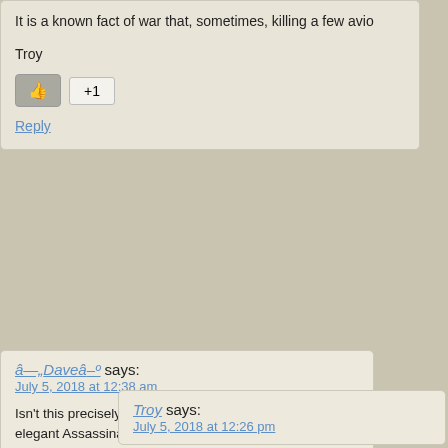It is a known fact of war that, sometimes, killing a few avoi...
Troy
Reply
â—„Daveâ–º says:
July 5, 2018 at 12:38 am
Isn't this precisely the principle behind the efficac... elegant Assassination Politics proposal? Sacrifice disagreeable state functionaries, to deter any furt... by others, which then precludes the necessity of revolution/civil war (same thing)… 😉 â—„Daveâ-
Reply
Troy says:
July 5, 2018 at 12:26 pm